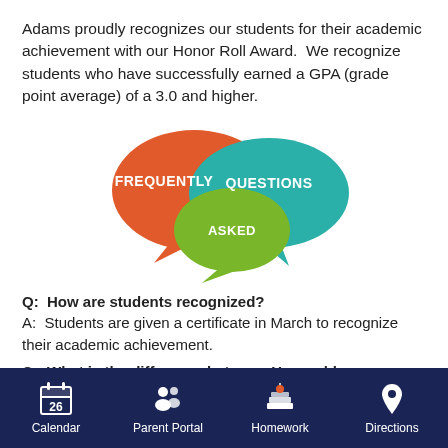Adams proudly recognizes our students for their academic achievement with our Honor Roll Award.  We recognize students who have successfully earned a GPA (grade point average) of a 3.0 and higher.
[Figure (infographic): Three overlapping speech bubbles in orange, teal, and green displaying the words FREQUENTLY, QUESTIONS, and ASKED respectively — forming a 'Frequently Asked Questions' graphic.]
Q:  How are students recognized?
A:  Students are given a certificate in March to recognize their academic achievement.
Q:  What is the difference between Honorable
Calendar   Parent Portal   Homework   Directions